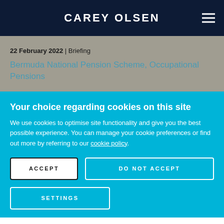CAREY OLSEN
22 February 2022 | Briefing
Bermuda National Pension Scheme, Occupational Pensions
Your choice regarding cookies on this site
We use cookies to optimise site functionality and give you the best possible experience. You can manage your cookie preferences or find out more by referring to our cookie policy.
ACCEPT
DO NOT ACCEPT
SETTINGS